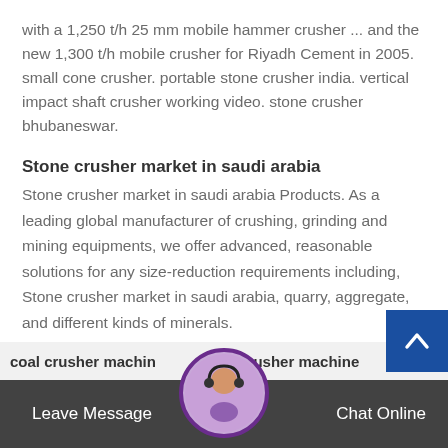with a 1,250 t/h 25 mm mobile hammer crusher ... and the new 1,300 t/h mobile crusher for Riyadh Cement in 2005. small cone crusher. portable stone crusher india. vertical impact shaft crusher working video. stone crusher bhubaneswar.
Stone crusher market in saudi arabia
Stone crusher market in saudi arabia Products. As a leading global manufacturer of crushing, grinding and mining equipments, we offer advanced, reasonable solutions for any size-reduction requirements including, Stone crusher market in saudi arabia, quarry, aggregate, and different kinds of minerals.
coal crusher machine   crusher machine manufacturer   Leave Message   Chat Online